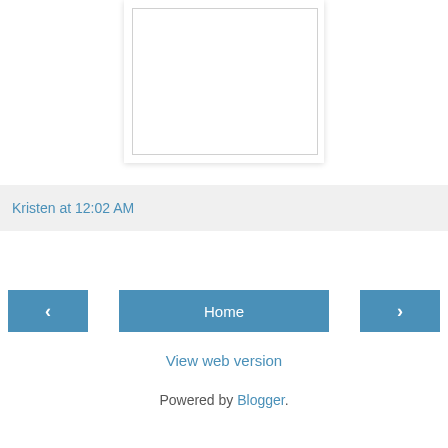[Figure (other): A white image box with light border, shown partially cropped at the top of the page, with a drop shadow.]
Kristen at 12:02 AM
‹
Home
›
View web version
Powered by Blogger.